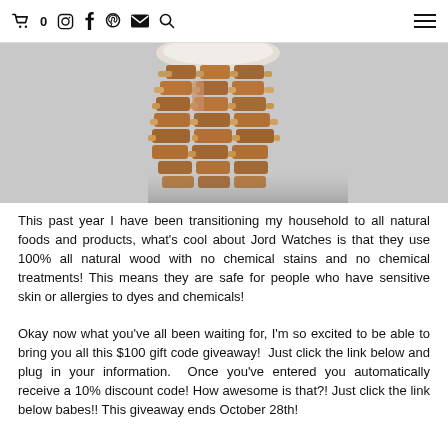🛒0  Instagram  Facebook  Pinterest  Email  Search  ☰
[Figure (photo): Close-up photo of a wooden watch bracelet/band showing a lattice-style wooden link design in warm brown tones against a light gray background. The watch face is partially visible at the top.]
This past year I have been transitioning my household to all natural foods and products, what's cool about Jord Watches is that they use 100% all natural wood with no chemical stains and no chemical treatments! This means they are safe for people who have sensitive skin or allergies to dyes and chemicals!
Okay now what you've all been waiting for, I'm so excited to be able to bring you all this $100 gift code giveaway!  Just click the link below and plug in your information.  Once you've entered you automatically receive a 10% discount code! How awesome is that?! Just click the link below babes!! This giveaway ends October 28th!